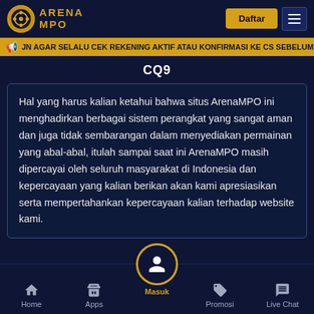ARENA MPO
JN AGAR SELALU CEK REKENING AKTIF ATAU KONFIRMASI KE CS SEBELUM
CQ9
Hal yang harus kalian ketahui bahwa situs ArenaMPO ini menghadirkan berbagai sistem perangkat yang sangat aman dan juga tidak sembarangan dalam menyediakan permainan yang abal-abal, itulah sampai saat ini ArenaMPO masih dipercayai oleh seluruh masyarakat di Indonesia dan kepercayaan yang kalian berikan akan kami apresiasikan serta mempertahankan kepercayaan kalian terhadap website kami.
Home | Apps | Masuk | Promosi | Live Chat